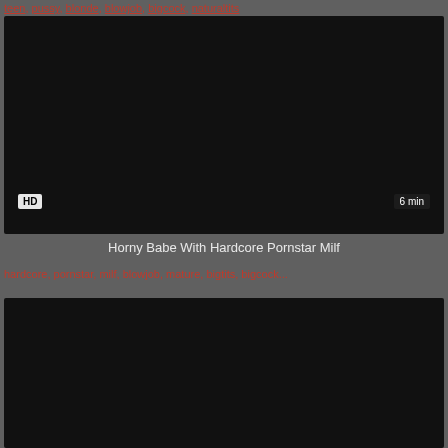teen, pussy, blonde, blowjob, bigcock, naturaltits
[Figure (screenshot): Dark video thumbnail with HD badge and 6 min duration label]
Horny Babe With Hardcore Pornstar Milf
hardcore, pornstar, milf, blowjob, mature, bigtits, bigcock...
[Figure (screenshot): Dark video thumbnail, second video]